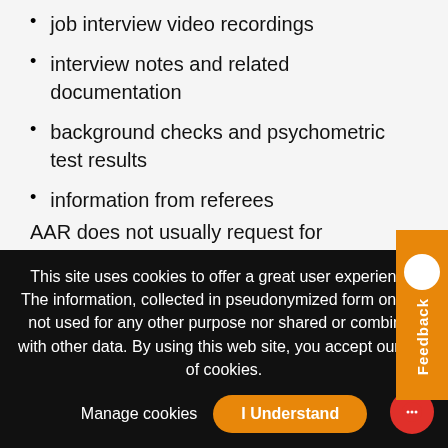job interview video recordings
interview notes and related documentation
background checks and psychometric test results
information from referees
AAR does not usually request for sensitive personal information i.e., information
This site uses cookies to offer a great user experience. The information, collected in pseudonymized form only, is not used for any other purpose nor shared or combined with other data. By using this web site, you accept our use of cookies.
Manage cookies
I Understand